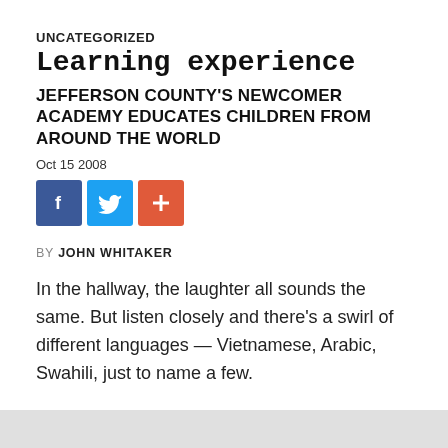UNCATEGORIZED
Learning experience
JEFFERSON COUNTY'S NEWCOMER ACADEMY EDUCATES CHILDREN FROM AROUND THE WORLD
Oct 15 2008
[Figure (infographic): Three social sharing buttons: Facebook (blue), Twitter (light blue), and a red plus/share button]
BY JOHN WHITAKER
In the hallway, the laughter all sounds the same. But listen closely and there’s a swirl of different languages — Vietnamese, Arabic, Swahili, just to name a few.
Inside the classroom, rows of students are dressed in